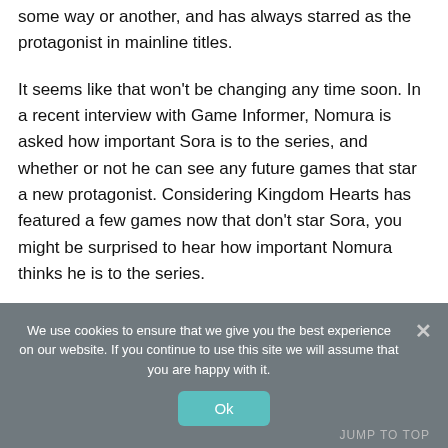some way or another, and has always starred as the protagonist in mainline titles.
It seems like that won't be changing any time soon. In a recent interview with Game Informer, Nomura is asked how important Sora is to the series, and whether or not he can see any future games that star a new protagonist. Considering Kingdom Hearts has featured a few games now that don't star Sora, you might be surprised to hear how important Nomura thinks he is to the series.
We use cookies to ensure that we give you the best experience on our website. If you continue to use this site we will assume that you are happy with it.